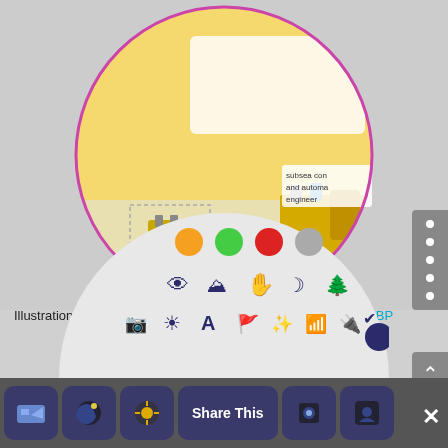[Figure (illustration): Circular illustration showing subsea engineering equipment — subsea wells, pipelines, and automated control systems with yellow/gold underwater machinery. Text overlay reads: 'As we move into deeper and more remote areas, flow assurance controls and intervention become more challenging. We are now introducing autonomous underwater vehicles (AUVs) to provide remote inspection and maintenance.' Labels indicate 'subsea control and automation engineer' and 'subsea wells engineer'.]
Illustration to show the different jobs a sub-mariner could do at BP
[Figure (screenshot): Semi-circular popup menu with colored dots (orange, green, red, grey) at the top and rows of dark purple icons below including eye, mountain, hand, crescent moon, tree, camera, sun, letter A, flag, sparkle, wifi, plug, checkmark, and globe icons. Below that is a bottom toolbar with dark blue icon buttons and a 'Share This' button.]